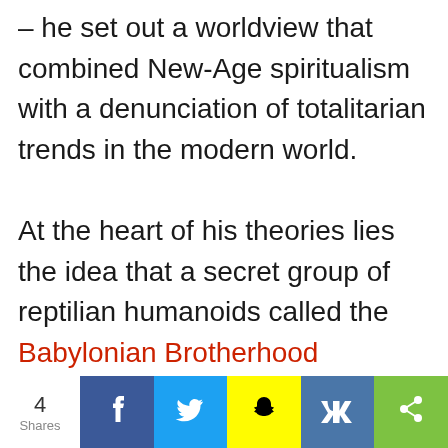– he set out a worldview that combined New-Age spiritualism with a denunciation of totalitarian trends in the modern world. At the heart of his theories lies the idea that a secret group of reptilian humanoids called the Babylonian Brotherhood (including George W. Bush, Queen Elizabeth II, Kris
4 Shares | Facebook | Twitter | Snapchat | VK | Share